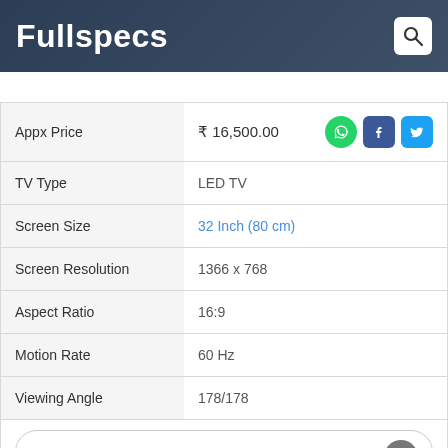Fullspecs
| Spec | Value |
| --- | --- |
| Appx Price | ₹ 16,500.00 |
| TV Type | LED TV |
| Screen Size | 32 Inch (80 cm) |
| Screen Resolution | 1366 x 768 |
| Aspect Ratio | 16:9 |
| Motion Rate | 60 Hz |
| Viewing Angle | 178/178 |
View Latest 32.00 inch LED TV Prices & Features